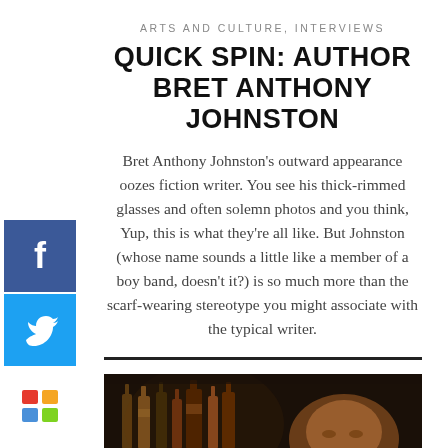ARTS AND CULTURE, INTERVIEWS
QUICK SPIN: AUTHOR BRET ANTHONY JOHNSTON
Bret Anthony Johnston's outward appearance oozes fiction writer. You see his thick-rimmed glasses and often solemn photos and you think, Yup, this is what they're all like. But Johnston (whose name sounds a little like a member of a boy band, doesn't it?) is so much more than the scarf-wearing stereotype you might associate with the typical writer.
[Figure (photo): Dark photo of a man (Bret Anthony Johnston) in front of a shelf of bottles, dimly lit scene]